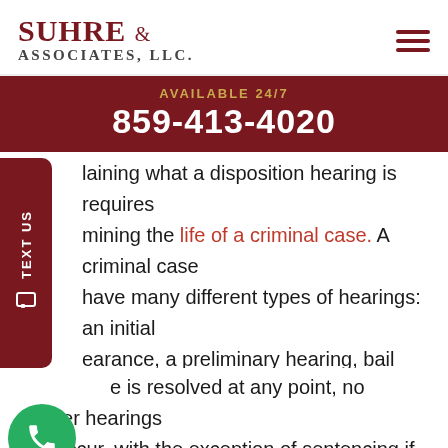[Figure (logo): Suhre & Associates, LLC law firm logo with hamburger menu icon]
[Figure (infographic): Dark red banner: AVAILABLE 24/7 with phone number 859-413-4020]
laining what a disposition hearing is requires mining the life of a criminal case. A criminal case have many different types of hearings: an initial earance, a preliminary hearing, bail hearings, status hearings, motion hearings, disposition hearings, jury status, trial, and sentencing.
e is resolved at any point, no further hearings will occur, with the exception of sentencing if a guilty plea is entered. A disposition hearing will be set...